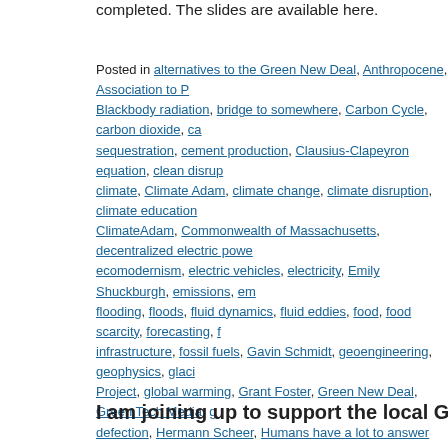completed. The slides are available here.
Posted in alternatives to the Green New Deal, Anthropocene, Association to P…, Blackbody radiation, bridge to somewhere, Carbon Cycle, carbon dioxide, ca… sequestration, cement production, Clausius-Clapeyron equation, clean disrup… climate, Climate Adam, climate change, climate disruption, climate education… ClimateAdam, Commonwealth of Massachusetts, decentralized electric powe… ecomodernism, electric vehicles, electricity, Emily Shuckburgh, emissions, en… flooding, floods, fluid dynamics, fluid eddies, food, food scarcity, forecasting, f… infrastructure, fossil fuels, Gavin Schmidt, geoengineering, geophysics, glacier… Project, global warming, Grant Foster, Green New Deal, Green Tech Media, g… defection, Hermann Scheer, Humans have a lot to answer for, hydrology, Hyp… icesheets, investment in wind and solar energy, investments, John Marshall, … in the ground, life cycle sustainability analysis, Mark Jacobson, meteorologica… National Center for Atmospheric Research, negative emissions, nonlinear sys… eddies, oceanography, oceans, permafrost, personal purity, photovoltaics, pre… radiative forcing, Ray Pierrehumbert, Robert Young, science, sea level rise, s… democracy, solar domination, solar energy, solar power, solar revolution, Star… Chu, Stewart Brand, sustainability, Svante Arrhenius, Tamino, the energy of t… know, the tragedy of our present civilization, the value of financial assets, utili… water, water as a resource, WHOI, wild fires, wind power, wishful environme… Institution, zero carbon | 1 Comment
I am joining up to support the local Gree…